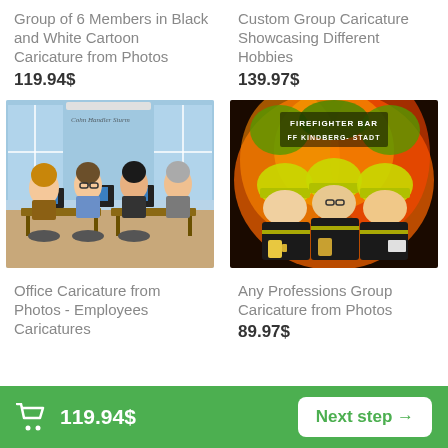Group of 6 Members in Black and White Cartoon Caricature from Photos
119.94$
Custom Group Caricature Showcasing Different Hobbies
139.97$
[Figure (illustration): Cartoon caricature of four office workers (Cohn Handler Sturm) sitting at desks with computers in a modern office setting]
[Figure (illustration): Cartoon caricature of three firefighters in yellow helmets at a bar, with fire in the background, text reads FIREFIGHTER BAR FF KINDBERG-STADT]
Office Caricature from Photos - Employees Caricatures
Any Professions Group Caricature from Photos
89.97$
🛒 119.94$   Next step →